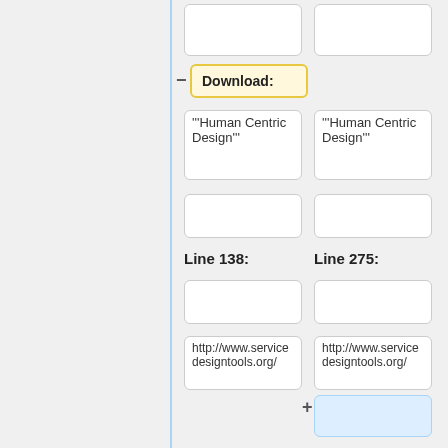Download:
"""Human Centric Design"""
"""Human Centric Design"""
Line 138:
Line 275:
http://www.servicedesigntools.org/
http://www.servicedesigntools.org/
"""Collective Action Toolkit by frog"""
http://www.frog...